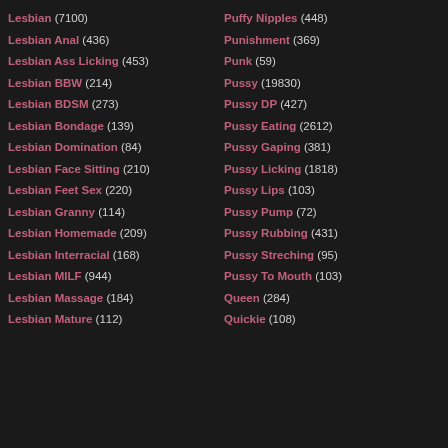Lesbian (7100)
Lesbian Anal (436)
Lesbian Ass Licking (453)
Lesbian BBW (214)
Lesbian BDSM (273)
Lesbian Bondage (139)
Lesbian Domination (84)
Lesbian Face Sitting (210)
Lesbian Feet Sex (220)
Lesbian Granny (114)
Lesbian Homemade (209)
Lesbian Interracial (168)
Lesbian MILF (944)
Lesbian Massage (184)
Lesbian Mature (112)
Puffy Nipples (448)
Punishment (369)
Punk (59)
Pussy (19830)
Pussy DP (427)
Pussy Eating (2612)
Pussy Gaping (381)
Pussy Licking (1818)
Pussy Lips (103)
Pussy Pump (72)
Pussy Rubbing (431)
Pussy Streching (95)
Pussy To Mouth (103)
Queen (284)
Quickie (108)